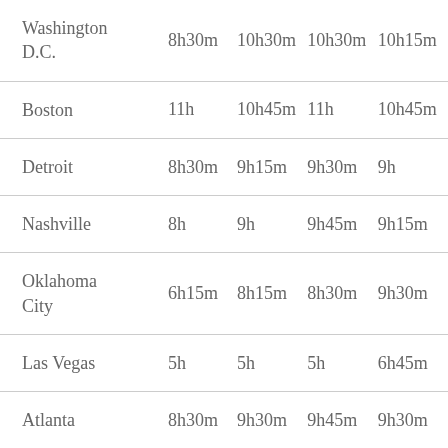| City | Col1 | Col2 | Col3 | Col4 |
| --- | --- | --- | --- | --- |
| Washington D.C. | 8h30m | 10h30m | 10h30m | 10h15m |
| Boston | 11h | 10h45m | 11h | 10h45m |
| Detroit | 8h30m | 9h15m | 9h30m | 9h |
| Nashville | 8h | 9h | 9h45m | 9h15m |
| Oklahoma City | 6h15m | 8h15m | 8h30m | 9h30m |
| Las Vegas | 5h | 5h | 5h | 6h45m |
| Atlanta | 8h30m | 9h30m | 9h45m | 9h30m |